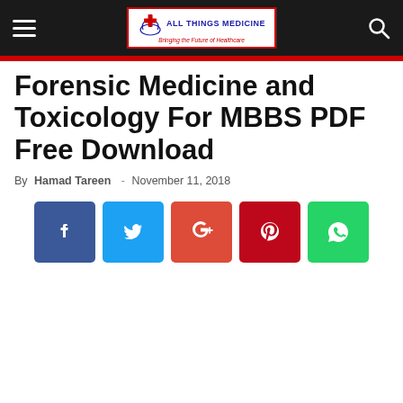All Things Medicine — Bringing the Future of Healthcare
Forensic Medicine and Toxicology For MBBS PDF Free Download
By Hamad Tareen - November 11, 2018
[Figure (other): Row of five social media share buttons: Facebook (blue), Twitter (light blue), Google+ (red-orange), Pinterest (dark red), WhatsApp (green)]